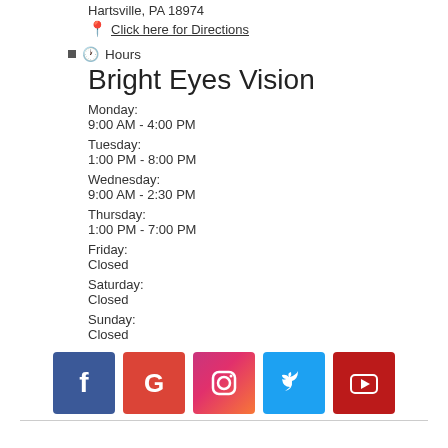Hartsville, PA 18974
Click here for Directions
Hours
Bright Eyes Vision
Monday:
9:00 AM - 4:00 PM
Tuesday:
1:00 PM - 8:00 PM
Wednesday:
9:00 AM - 2:30 PM
Thursday:
1:00 PM - 7:00 PM
Friday:
Closed
Saturday:
Closed
Sunday:
Closed
[Figure (other): Social media icons: Facebook, Google, Instagram, Twitter, YouTube]